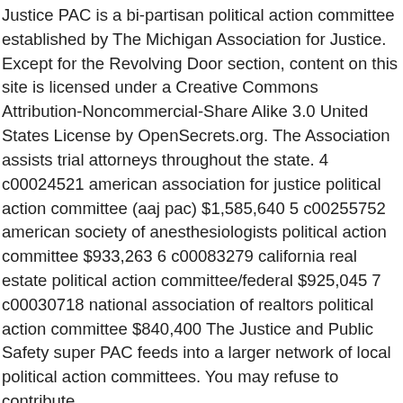Justice PAC is a bi-partisan political action committee established by The Michigan Association for Justice. Except for the Revolving Door section, content on this site is licensed under a Creative Commons Attribution-Noncommercial-Share Alike 3.0 United States License by OpenSecrets.org. The Association assists trial attorneys throughout the state. 4 c00024521 american association for justice political action committee (aaj pac) $1,585,640 5 c00255752 american society of anesthesiologists political action committee $933,263 6 c00083279 california real estate political action committee/federal $925,045 7 c00030718 national association of realtors political action committee $840,400 The Justice and Public Safety super PAC feeds into a larger network of local political action committees. You may refuse to contribute